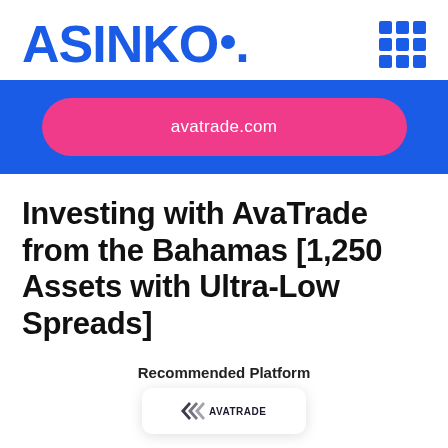ASINKO.
[Figure (logo): ASINKO. logo in bold blue text with a blue dot, and a 3x3 blue grid icon on the right]
[Figure (infographic): Blue banner with a pink/magenta rounded pill button reading 'avatrade.com']
Investing with AvaTrade from the Bahamas [1,250 Assets with Ultra-Low Spreads]
Recommended Platform
[Figure (logo): AvaTrade logo in bottom right card]